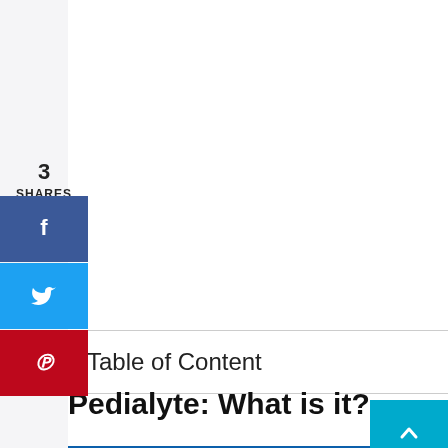3
SHARES
[Figure (infographic): Social share sidebar with Facebook (blue), Twitter (light blue), and Pinterest (red) buttons with icons]
Table of Content
Pedialyte: What is it?
[Figure (photo): Bottom portion of a Pedialyte product image on blue background]